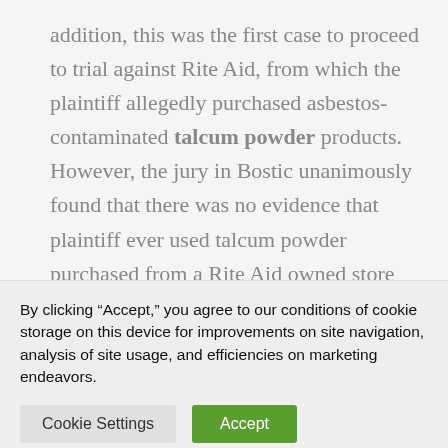addition, this was the first case to proceed to trial against Rite Aid, from which the plaintiff allegedly purchased asbestos-contaminated talcum powder products. However, the jury in Bostic unanimously found that there was no evidence that plaintiff ever used talcum powder purchased from a Rite Aid owned store and therefore found the...
By clicking “Accept,” you agree to our conditions of cookie storage on this device for improvements on site navigation, analysis of site usage, and efficiencies on marketing endeavors.